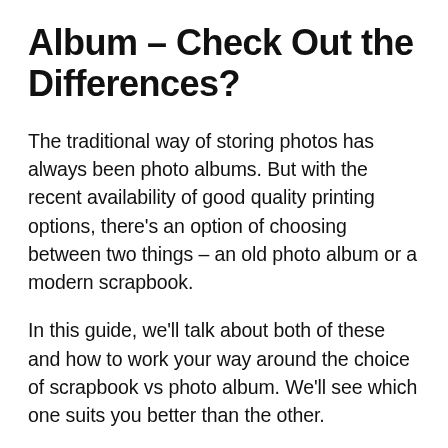Album – Check Out the Differences?
The traditional way of storing photos has always been photo albums. But with the recent availability of good quality printing options, there's an option of choosing between two things – an old photo album or a modern scrapbook.
In this guide, we'll talk about both of these and how to work your way around the choice of scrapbook vs photo album. We'll see which one suits you better than the other.